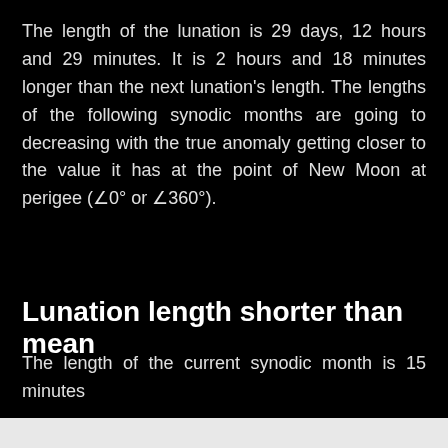The length of the lunation is 29 days, 12 hours and 29 minutes. It is 2 hours and 18 minutes longer than the next lunation's length. The lengths of the following synodic months are going to decreasing with the true anomaly getting closer to the value it has at the point of New Moon at perigee (∠0° or ∠360°).
Lunation length shorter than mean
The length of the current synodic month is 15 minutes